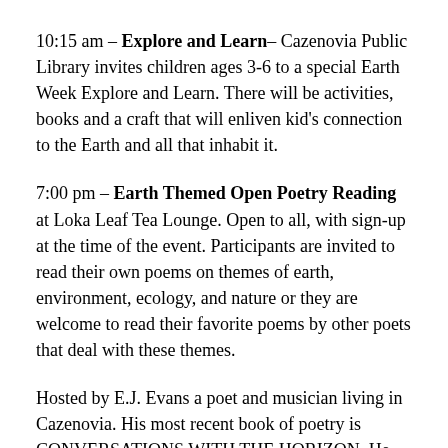10:15 am – Explore and Learn– Cazenovia Public Library invites children ages 3-6 to a special Earth Week Explore and Learn. There will be activities, books and a craft that will enliven kid's connection to the Earth and all that inhabit it.
7:00 pm – Earth Themed Open Poetry Reading at Loka Leaf Tea Lounge. Open to all, with sign-up at the time of the event. Participants are invited to read their own poems on themes of earth, environment, ecology, and nature or they are welcome to read their favorite poems by other poets that deal with these themes.
Hosted by E.J. Evans a poet and musician living in Cazenovia. His most recent book of poetry is CONVERSATIONS WITH THE HORIZON. He has contributed poetry and prose poetry to Poetry East, RHINO Poetry, Rattle, Confrontation, New Mexico Poetry Review